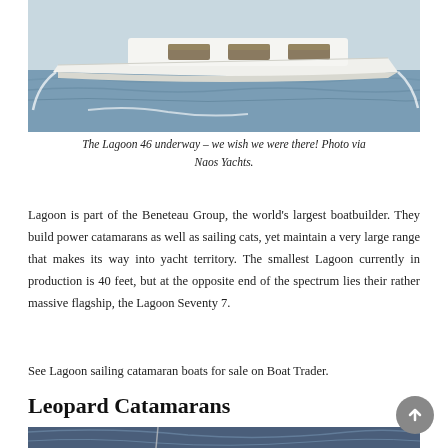[Figure (photo): Aerial or side view of the Lagoon 46 catamaran sailing on water, white hull, wooden accents on cabin windows.]
The Lagoon 46 underway – we wish we were there! Photo via Naos Yachts.
Lagoon is part of the Beneteau Group, the world's largest boatbuilder. They build power catamarans as well as sailing cats, yet maintain a very large range that makes its way into yacht territory. The smallest Lagoon currently in production is 40 feet, but at the opposite end of the spectrum lies their rather massive flagship, the Lagoon Seventy 7.
See Lagoon sailing catamaran boats for sale on Boat Trader.
Leopard Catamarans
[Figure (photo): Partial view of a Leopard catamaran at sea with dramatic sky background.]